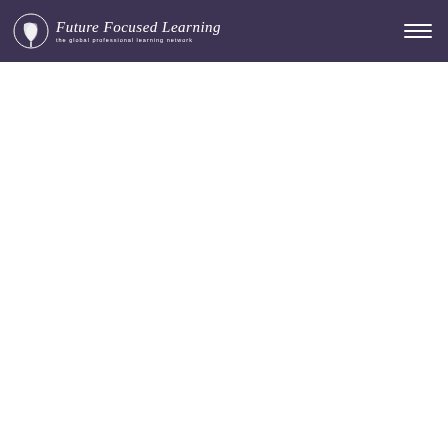Future Focused Learning - the global professional learning network
[Figure (logo): Future Focused Learning logo with stylized leaf/tree icon and italic script text reading 'Future Focused Learning' with tagline 'the global professional learning network' on dark purple background]